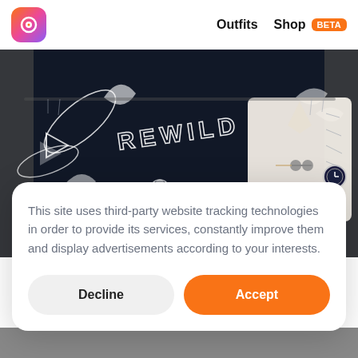Outfits  Shop BETA
[Figure (photo): Fashion outfit photo with dark botanical tapestry background reading 'REWILD', a cream-colored knit top, light blue skirt with bow, and a dark watch, displayed on a clothing rack]
This site uses third-party website tracking technologies in order to provide its services, constantly improve them and display advertisements according to your interests.
Decline
Accept